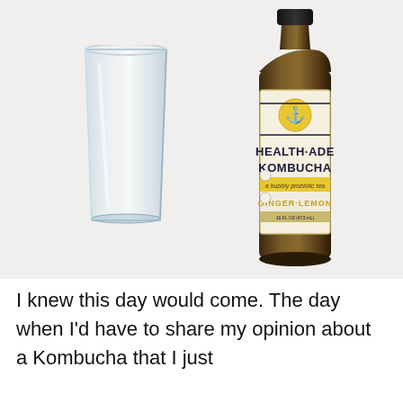[Figure (photo): Photo of an empty glass tumbler on the left and a bottle of Health-Ade Kombucha (Ginger-Lemon flavor) on the right, both placed on a white fabric/towel surface.]
I knew this day would come. The day when I'd have to share my opinion about a Kombucha that I just